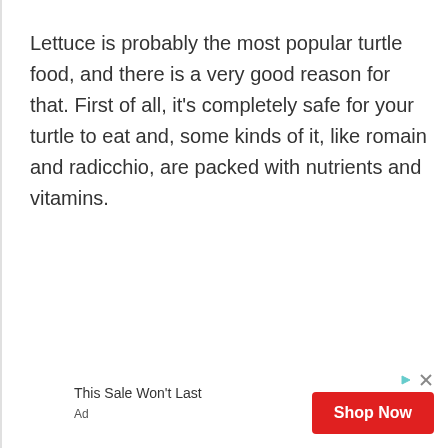Lettuce is probably the most popular turtle food, and there is a very good reason for that. First of all, it's completely safe for your turtle to eat and, some kinds of it, like romain and radicchio, are packed with nutrients and vitamins.
[Figure (other): Advertisement banner with text 'This Sale Won't Last' and a red 'Shop Now' button with AdChoices icon and close (X) icon.]